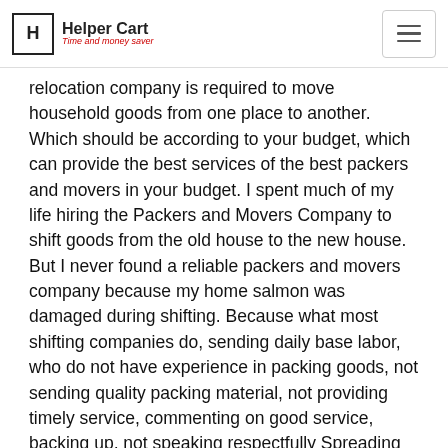Helper Cart — Time and money saver
relocation company is required to move household goods from one place to another. Which should be according to your budget, which can provide the best services of the best packers and movers in your budget. I spent much of my life hiring the Packers and Movers Company to shift goods from the old house to the new house. But I never found a reliable packers and movers company because my home salmon was damaged during shifting. Because what most shifting companies do, sending daily base labor, who do not have experience in packing goods, not sending quality packing material, not providing timely service, commenting on good service, backing up, not speaking respectfully Spreading many imperfections inside the house. Transfer in the